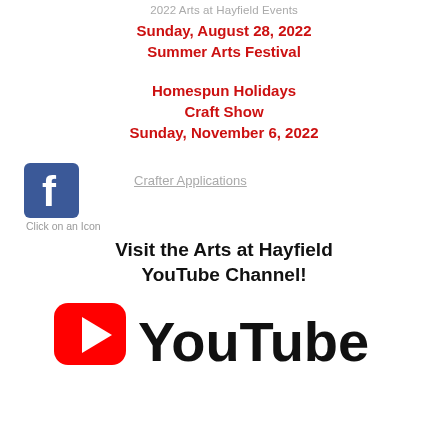2022 Arts at Hayfield Events
Sunday, August 28, 2022
Summer Arts Festival
Homespun Holidays
Craft Show
Sunday, November 6, 2022
[Figure (logo): Facebook logo icon (blue square with white F)]
Crafter Applications
Click on an Icon
Visit the Arts at Hayfield YouTube Channel!
[Figure (logo): YouTube logo - red rectangle with white play triangle, followed by 'YouTube' text in black]